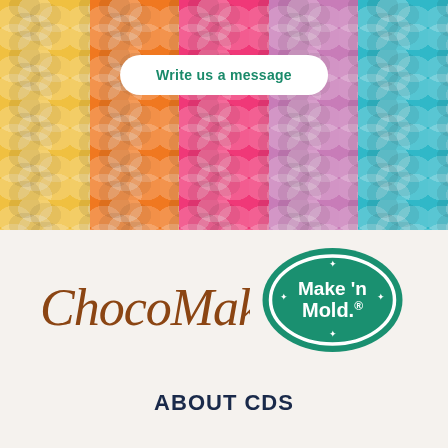[Figure (photo): Colorful candy/chocolate discs in yellow, orange, pink, purple, and teal stripes filling the background]
Write us a message
[Figure (logo): ChocoMaker cursive script logo in brown/chocolate color]
[Figure (logo): Make'n Mold oval logo with teal/green background and white text with stars]
ABOUT CDS